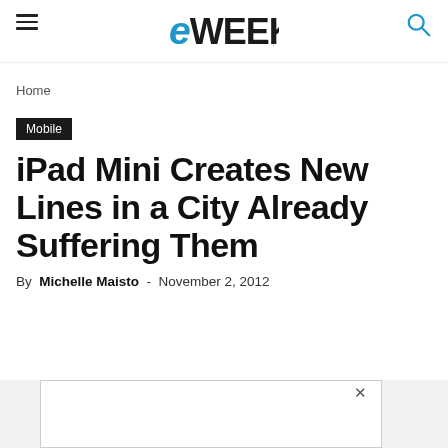eWEEK
Home
Mobile
iPad Mini Creates New Lines in a City Already Suffering Them
By Michelle Maisto - November 2, 2012